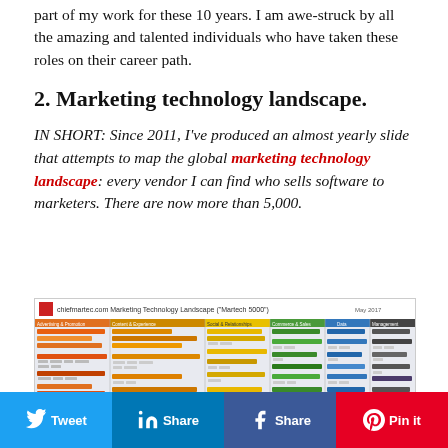part of my work for these 10 years. I am awe-struck by all the amazing and talented individuals who have taken these roles on their career path.
2. Marketing technology landscape.
IN SHORT: Since 2011, I've produced an almost yearly slide that attempts to map the global marketing technology landscape: every vendor I can find who sells software to marketers. There are now more than 5,000.
[Figure (screenshot): Screenshot of the chiefmartec.com Marketing Technology Landscape (Martech 5000) map from May 2017, showing hundreds of vendor logos organized into categories including Advertising & Promotion, Content & Experience, Social & Relationships, Commerce & Sales, Data, and Management.]
Twitter  LinkedIn  Facebook  Pinterest social share buttons